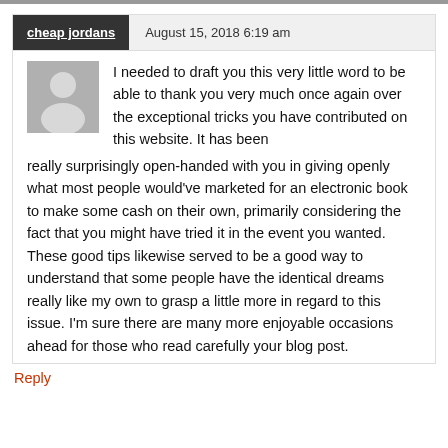cheap jordans   August 15, 2018 6:19 am
I needed to draft you this very little word to be able to thank you very much once again over the exceptional tricks you have contributed on this website. It has been really surprisingly open-handed with you in giving openly what most people would've marketed for an electronic book to make some cash on their own, primarily considering the fact that you might have tried it in the event you wanted. These good tips likewise served to be a good way to understand that some people have the identical dreams really like my own to grasp a little more in regard to this issue. I'm sure there are many more enjoyable occasions ahead for those who read carefully your blog post.
Reply